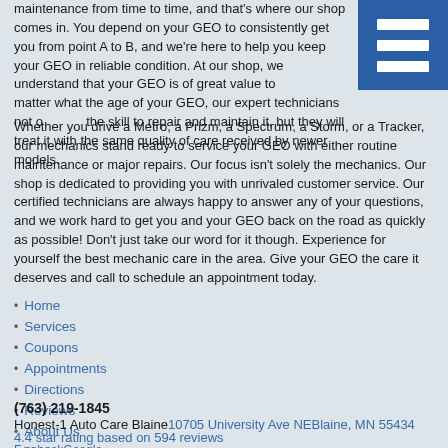maintenance from time to time, and that's where our shop comes in. You depend on your GEO to consistently get you from point A to B, and we're here to help you keep your GEO in reliable condition. At our shop, we understand that your GEO is of great value to you. No matter what the age of your GEO, our expert technicians not only have the skill to repair and maintain it, but they will treat it with the same quality of care received by newer models. Whether you drive a Metro, a Prizm, a Spectrum, a Storm, or a Tracker, our mechanics stand ready to service your GEO with either routine maintenance or major repairs. Our focus isn't solely the mechanics. Our shop is dedicated to providing you with unrivaled customer service. Our certified technicians are always happy to answer any of your questions, and we work hard to get you and your GEO back on the road as quickly as possible! Don't just take our word for it though. Experience for yourself the best mechanic care in the area. Give your GEO the care it deserves and call to schedule an appointment today.
Home
Services
Coupons
Appointments
Directions
Reviews
About Us
Vehicles
Own a Franchise
Career Opportunities
COVID-19 Update
(763) 219-1845
Honest-1 Auto Care Blaine10705 University Ave NEBlaine, MN 55434
4.4 star rating based on 594 reviews
FacebookGoogle
Website by kukui
Privacy Policy